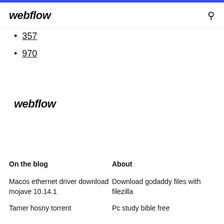webflow
357
970
webflow
On the blog
About
Macos ethernet driver download mojave 10.14.1
Download godaddy files with filezilla
Tamer hosny torrent
Pc study bible free